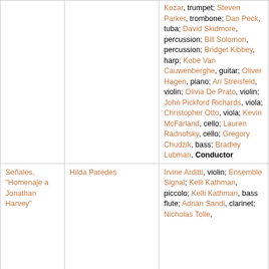| Title | Composer | Performers |  |
| --- | --- | --- | --- |
|  |  | Kozar, trumpet; Steven Parker, trombone; Dan Peck, tuba; David Skidmore, percussion; Bill Solomon, percussion; Bridget Kibbey, harp; Kobe Van Cauwenberghe, guitar; Oliver Hagen, piano; Ari Streisfeld, violin; Olivia De Prato, violin; John Pickford Richards, viola; Christopher Otto, viola; Kevin McFarland, cello; Lauren Radnofsky, cello; Gregory Chudzik, bass; Bradley Lubman, Conductor |  |
| Señales, "Homenaje a Jonathan Harvey" | Hilda Paredes | Irvine Arditti, violin; Ensemble Signal; Kelli Kathman, piccolo; Kelli Kathman, bass flute; Adrián Sandi, clarinet; Nicholas Tolle... | ▶ |